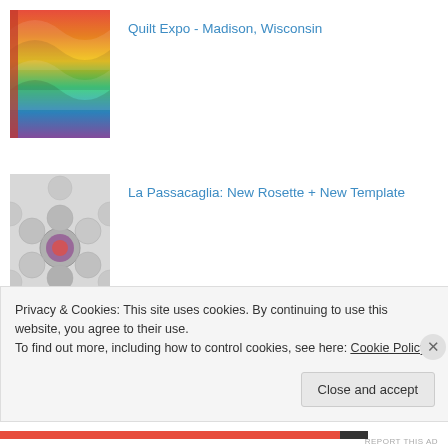[Figure (photo): Colorful quilt with wave/fan pattern in rainbow colors]
Quilt Expo - Madison, Wisconsin
[Figure (photo): La Passacaglia quilt with hexagonal rosette pattern in gray and white with colorful center]
La Passacaglia: New Rosette + New Template
[Figure (photo): Stacked folded fabric in green, burgundy, and orange/red colors on white surface]
Starting a Dear Jane Quilt
Privacy & Cookies: This site uses cookies. By continuing to use this website, you agree to their use.
To find out more, including how to control cookies, see here: Cookie Policy
Close and accept